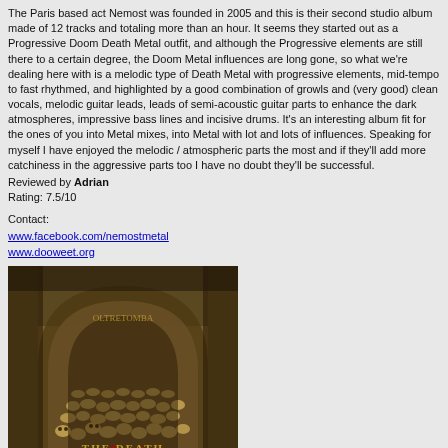The Paris based act Nemost was founded in 2005 and this is their second studio album made of 12 tracks and totaling more than an hour. It seems they started out as a Progressive Doom Death Metal outfit, and although the Progressive elements are still there to a certain degree, the Doom Metal influences are long gone, so what we're dealing here with is a melodic type of Death Metal with progressive elements, mid-tempo to fast rhythmed, and highlighted by a good combination of growls and (very good) clean vocals, melodic guitar leads, leads of semi-acoustic guitar parts to enhance the dark atmospheres, impressive bass lines and incisive drums. It's an interesting album fit for the ones of you into Metal mixes, into Metal with lot and lots of influences. Speaking for myself I have enjoyed the melodic / atmospheric parts the most and if they'll add more catchiness in the aggressive parts too I have no doubt they'll be successful.
Reviewed by Adrian
Rating: 7.5/10
Contact:
www.facebook.com/nemostmetal
www.dooweet.org
[Figure (photo): Album cover showing a catacomb arch filled with skulls and bones, with red figures at the bottom. Text reads 'THE DEATH schiaviri con la morte']
Band: OLTRETOMBA
Country: Italy